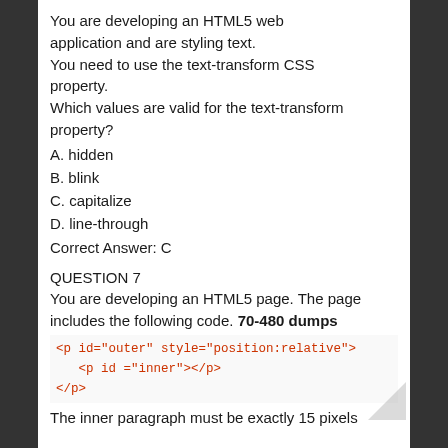You are developing an HTML5 web application and are styling text. You need to use the text-transform CSS property. Which values are valid for the text-transform property?
A. hidden
B. blink
C. capitalize
D. line-through
Correct Answer: C
QUESTION 7
You are developing an HTML5 page. The page includes the following code. 70-480 dumps
<p id="outer" style="position:relative">
    <p id ="inner"></p>
</p>
The inner paragraph must be exactly 15 pixels